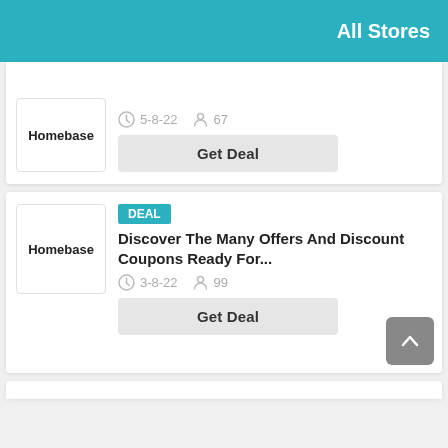All Stores
Homebase
5-8-22   67
Get Deal
DEAL
Homebase
Discover The Many Offers And Discount Coupons Ready For...
3-8-22   99
Get Deal